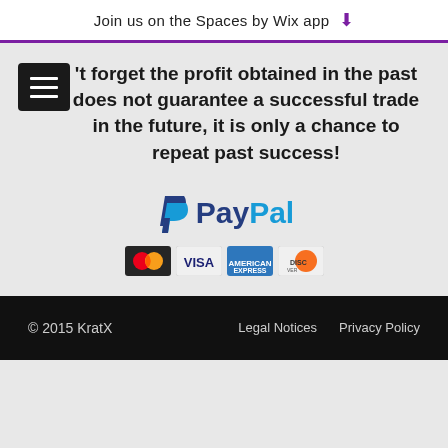Join us on the Spaces by Wix app
Don't forget the profit obtained in the past does not guarantee a successful trade in the future, it is only a chance to repeat past success!
[Figure (logo): PayPal logo with credit card icons (MasterCard, Visa, American Express, Discover)]
© 2015 KratX   Legal Notices   Privacy Policy